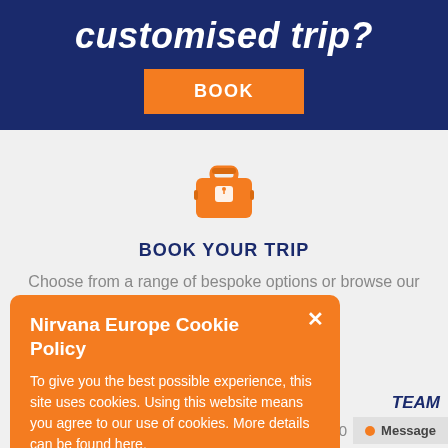customised trip?
BOOK
[Figure (illustration): Orange luggage/suitcase icon with a price tag]
BOOK YOUR TRIP
Choose from a range of bespoke options or browse our packages
Nirvana Europe Cookie Policy
To give you the best possible experience, this site uses cookies. Using this website means you agree to our use of cookies. More details can be found here.
TEAM
1750
Message